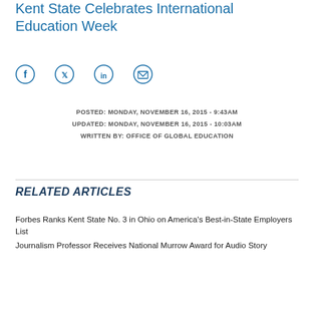Kent State Celebrates International Education Week
[Figure (infographic): Social media share icons: Facebook, Twitter, LinkedIn, Email]
POSTED: MONDAY, NOVEMBER 16, 2015 - 9:43AM
UPDATED: MONDAY, NOVEMBER 16, 2015 - 10:03AM
WRITTEN BY: OFFICE OF GLOBAL EDUCATION
RELATED ARTICLES
Forbes Ranks Kent State No. 3 in Ohio on America's Best-in-State Employers List
Journalism Professor Receives National Murrow Award for Audio Story